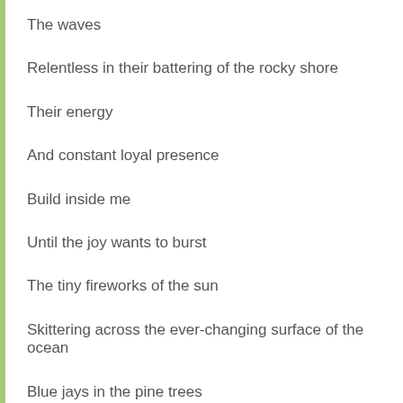The waves
Relentless in their battering of the rocky shore
Their energy
And constant loyal presence
Build inside me
Until the joy wants to burst
The tiny fireworks of the sun
Skittering across the ever-changing surface of the ocean
Blue jays in the pine trees